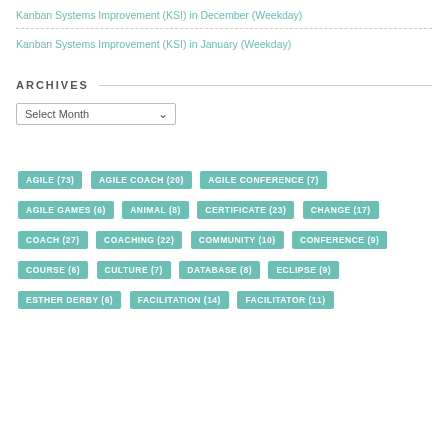Kanban Systems Improvement (KSI) in December (Weekday)
Kanban Systems Improvement (KSI) in January (Weekday)
ARCHIVES
Select Month
AGILE (73)
AGILE COACH (20)
AGILE CONFERENCE (7)
AGILE GAMES (6)
ANIMAL (8)
CERTIFICATE (23)
CHANGE (17)
COACH (27)
COACHING (22)
COMMUNITY (10)
CONFERENCE (9)
COURSE (6)
CULTURE (7)
DATABASE (8)
ECLIPSE (9)
ESTHER DERBY (6)
FACILITATION (14)
FACILITATOR (11)